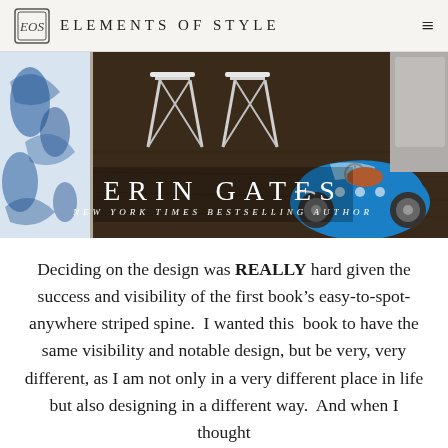ELEMENTS OF STYLE
[Figure (photo): Banner image showing interior design elements: blue and white chinoiserie fabric, white counter stools on dark wood floor, a blue toy car on wood floor, and gray upholstered furniture. Text overlay reads 'ERIN GATES' and 'NEW YORK TIMES BESTSELLING AUTHOR']
Deciding on the design was REALLY hard given the success and visibility of the first book’s easy-to-spot-anywhere striped spine. I wanted this book to have the same visibility and notable design, but be very, very different, as I am not only in a very different place in life but also designing in a different way. And when I thought